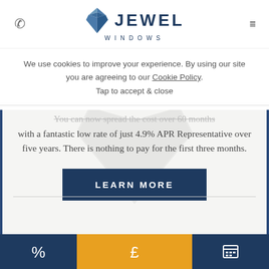[Figure (logo): Jewel Windows logo with diamond icon and text JEWEL WINDOWS]
We use cookies to improve your experience. By using our site you are agreeing to our Cookie Policy.
Tap to accept & close
You can now spread the cost over 60 months with a fantastic low rate of just 4.9% APR Representative over five years. There is nothing to pay for the first three months.
LEARN MORE
[Figure (illustration): Bottom navigation bar with percent icon, pound sterling icon (highlighted in gold), and calendar icon on dark navy background]